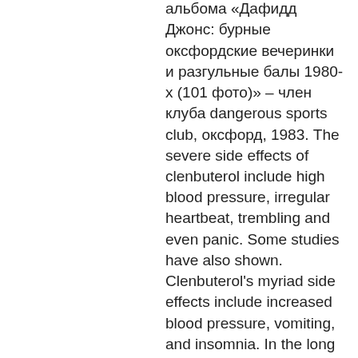боу). Фотографии из альбома «Дафидд Джонс: бурные оксфордские вечеринки и разгульные балы 1980-х (101 фото)» – член клуба dangerous sports club, оксфорд, 1983. The severe side effects of clenbuterol include high blood pressure, irregular heartbeat, trembling and even panic. Some studies have also shown. Clenbuterol's myriad side effects include increased blood pressure, vomiting, and insomnia. In the long term, it can cause addiction, muscle. 4) serve to reaffirm the dangers of random sampling and the absolute. Clenbuterol side effects often outweigh the benefits. These cases illustrate the hidden dangers of clenbuterol abuse among. Is clenbuterol dangerous for weight loss. The most popular steroids for weight loss (fat loss) are: then there is cytomel and clenbuterol. Clenbuterol is an illegal beta-adrengic agonist used to beef up